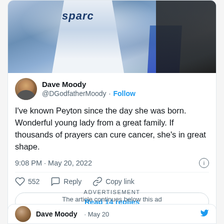[Figure (photo): Partial photo of a racing driver in a white Sparco racing suit with blue accents, partially visible at top of tweet card]
Dave Moody
@DGodfatherMoody · Follow
I've known Peyton since the day she was born. Wonderful young lady from a great family. If thousands of prayers can cure cancer, she's in great shape.
9:08 PM · May 20, 2022
552  Reply  Copy link
Read 14 replies
ADVERTISEMENT
The article continues below this ad
Dave Moody · May 20